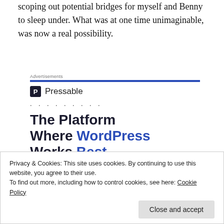scoping out potential bridges for myself and Benny to sleep under. What was at one time unimaginable, was now a real possibility.
[Figure (other): Pressable advertisement banner with blue bar, Pressable logo, dotted line, and headline text: The Platform Where WordPress Works Best, with a SEE PRICING button]
Privacy & Cookies: This site uses cookies. By continuing to use this website, you agree to their use.
To find out more, including how to control cookies, see here: Cookie Policy
Close and accept
knew how bad my situation was, yet still allowed me